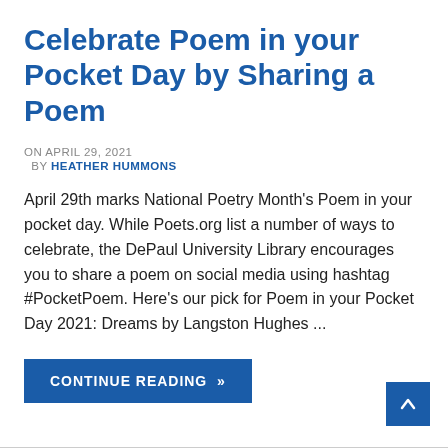Celebrate Poem in your Pocket Day by Sharing a Poem
ON APRIL 29, 2021
BY HEATHER HUMMONS
April 29th marks National Poetry Month's Poem in your pocket day. While Poets.org list a number of ways to celebrate, the DePaul University Library encourages you to share a poem on social media using hashtag #PocketPoem. Here's our pick for Poem in your Pocket Day 2021: Dreams by Langston Hughes ...
CONTINUE READING »